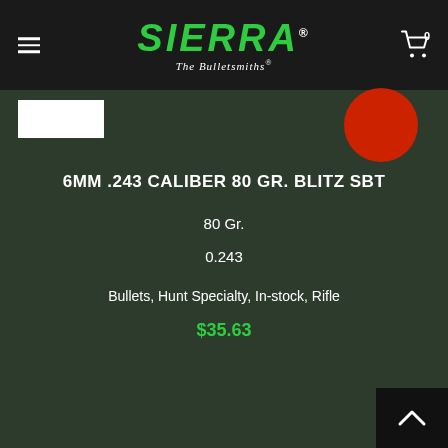Sierra The Bulletsmiths
6MM .243 CALIBER 80 GR. BLITZ SBT
80 Gr.
0.243
Bullets, Hunt Specialty, In-stock, Rifle
$35.63